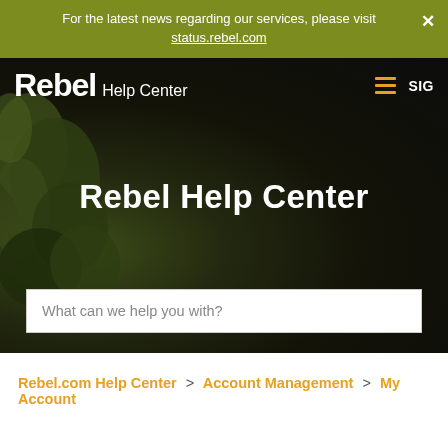For the latest news regarding our services, please visit status.rebel.com
[Figure (screenshot): Rebel Help Center website hero section with dark background, foliage on left, Rebel logo and navigation bar at top, large white 'Rebel Help Center' title, and a search input box]
Rebel.com Help Center > Account Management > My Account